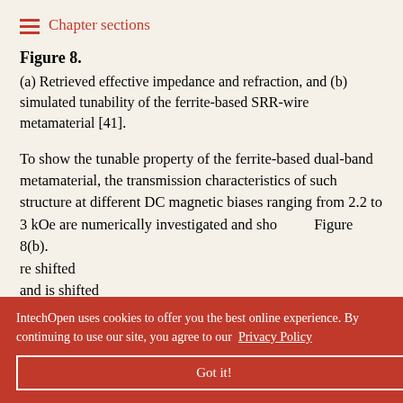Chapter sections
Figure 8.
(a) Retrieved effective impedance and refraction, and (b) simulated tunability of the ferrite-based SRR-wire metamaterial [41].
To show the tunable property of the ferrite-based dual-band metamaterial, the transmission characteristics of such structure at different DC magnetic biases ranging from 2.2 to 3 kOe are numerically investigated and shown in Figure 8(b). ... are shifted ... band is shifted ... about 1.875 ... ifted from ... ut 1.5 MHz/Oe. The transmission peaks and bandwidths
IntechOpen uses cookies to offer you the best online experience. By continuing to use our site, you agree to our Privacy Policy
Got it!